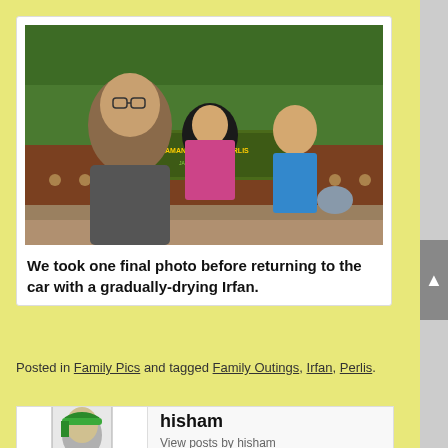[Figure (photo): A selfie photo of three people in front of a park or zoo entrance sign with trees in the background. A man with glasses in a dark shirt takes the selfie, a woman in a hijab is next to him, and a young man in a blue shirt stands behind them.]
We took one final photo before returning to the car with a gradually-drying Irfan.
Posted in Family Pics and tagged Family Outings, Irfan, Perlis.
[Figure (illustration): A cartoon/illustrated avatar of a person wearing a green headband, rendered in comic book style with green and gray tones.]
hisham
View posts by hisham